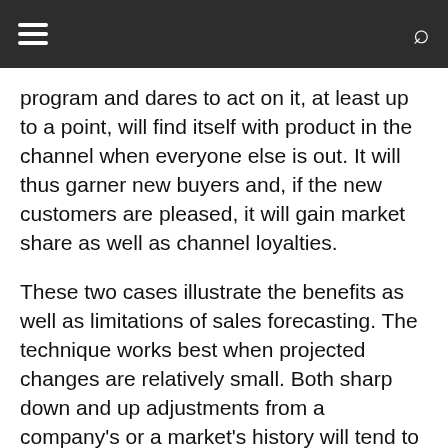≡  🔍
program and dares to act on it, at least up to a point, will find itself with product in the channel when everyone else is out. It will thus garner new buyers and, if the new customers are pleased, it will gain market share as well as channel loyalties.
These two cases illustrate the benefits as well as limitations of sales forecasting. The technique works best when projected changes are relatively small. Both sharp down and up adjustments from a company's or a market's history will tend to be resisted. But those with the best techniques, combining every major approach, are likely to go farthest in the right direction and will ultimately emerge as the winners.
BIBLIOGRAPHY